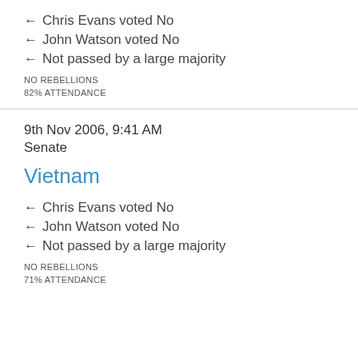← Chris Evans voted No
← John Watson voted No
← Not passed by a large majority
NO REBELLIONS
82% ATTENDANCE
9th Nov 2006, 9:41 AM
Senate
Vietnam
← Chris Evans voted No
← John Watson voted No
← Not passed by a large majority
NO REBELLIONS
71% ATTENDANCE